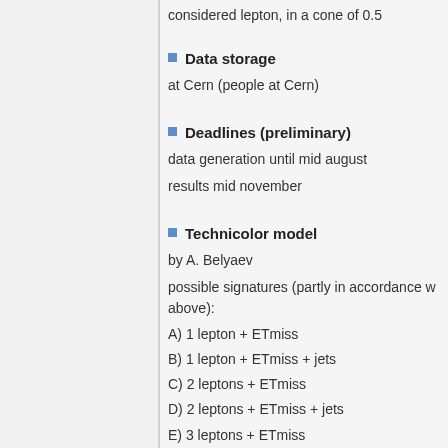considered lepton, in a cone of 0.5
Data storage
at Cern (people at Cern)
Deadlines (preliminary)
data generation until mid august
results mid november
Technicolor model
by A. Belyaev
possible signatures (partly in accordance w above):
A) 1 lepton + ETmiss
B) 1 lepton + ETmiss + jets
C) 2 leptons + ETmiss
D) 2 leptons + ETmiss + jets
E) 3 leptons + ETmiss
F) 4 leptons + ETmiss